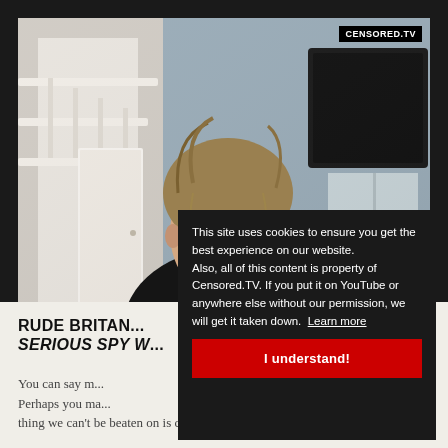[Figure (screenshot): Video thumbnail showing a woman speaking to camera in a home setting, with CENSORED.TV logo badge in top-right corner]
RUDE BRITAN... serious spy w...
You can say m... Perhaps you ma... thing we can't be beaten on is costume and
This site uses cookies to ensure you get the best experience on our website. Also, all of this content is property of Censored.TV. If you put it on YouTube or anywhere else without our permission, we will get it taken down. Learn more
I understand!